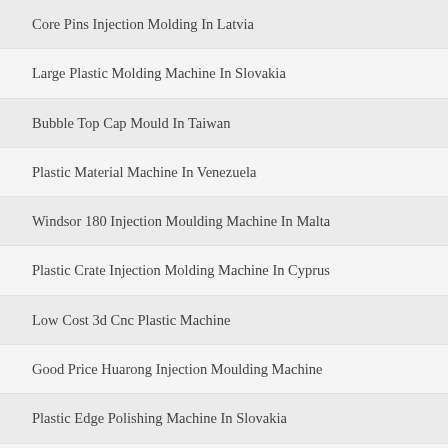Core Pins Injection Molding In Latvia
Large Plastic Molding Machine In Slovakia
Bubble Top Cap Mould In Taiwan
Plastic Material Machine In Venezuela
Windsor 180 Injection Moulding Machine In Malta
Plastic Crate Injection Molding Machine In Cyprus
Low Cost 3d Cnc Plastic Machine
Good Price Huarong Injection Moulding Machine
Plastic Edge Polishing Machine In Slovakia
Plastic Food Container Machine In Algeria